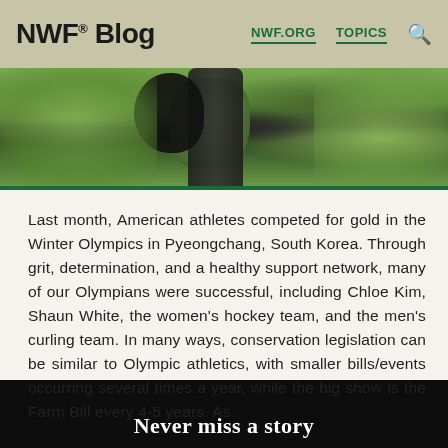NWF® Blog  NWF.ORG  TOPICS
[Figure (photo): A black bear partially visible behind a large moss-covered tree trunk surrounded by green forest foliage.]
Last month, American athletes competed for gold in the Winter Olympics in Pyeongchang, South Korea. Through grit, determination, and a healthy support network, many of our Olympians were successful, including Chloe Kim, Shaun White, the women's hockey team, and the men's curling team. In many ways, conservation legislation can be similar to Olympic athletics, with smaller bills/events occurring several times a year, while the big show is the Farm Bill every 4-5 years. As
Never miss a story
SIGN UP NOW